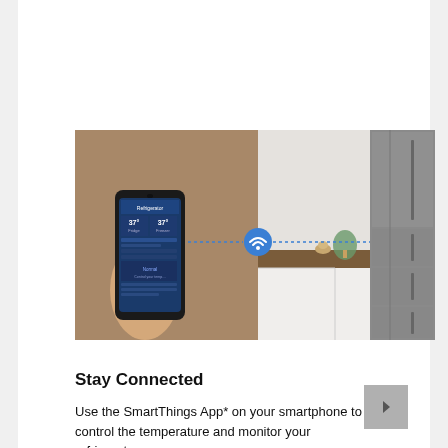[Figure (photo): Composite image showing a hand holding a Samsung smartphone with the SmartThings App displaying refrigerator controls (temperature readings) on the left half, and a modern kitchen with a large multi-door Samsung refrigerator on the right half. A Wi-Fi/connectivity icon appears in the center connecting the phone to the refrigerator.]
Stay Connected
Use the SmartThings App* on your smartphone to control the temperature and monitor your refrigerator